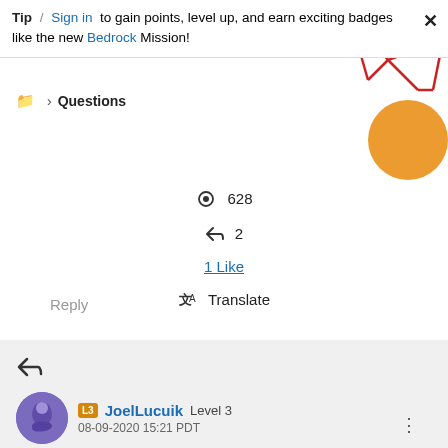Tip / Sign in to gain points, level up, and earn exciting badges like the new Bedrock Mission!
Questions
628
2
1 Like
Translate
Reply
JoelLucuik Level 3
08-09-2020 15:21 PDT